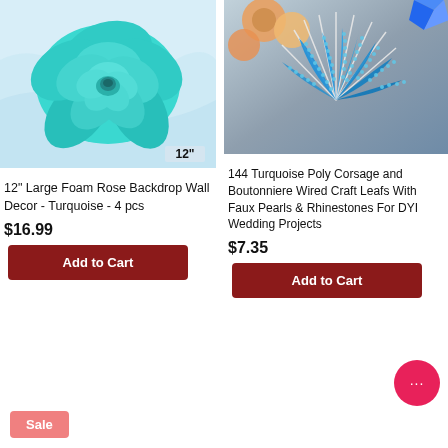[Figure (photo): 12 inch large foam rose in turquoise color with size label '12"' on white fabric background]
[Figure (photo): 144 Turquoise Poly Corsage and Boutonniere wired craft leafs with faux pearls and rhinestones, blue beaded fan/peacock feather design on silver mirror]
12" Large Foam Rose Backdrop Wall Decor - Turquoise - 4 pcs
$16.99
Add to Cart
144 Turquoise Poly Corsage and Boutonniere Wired Craft Leafs With Faux Pearls & Rhinestones For DYI Wedding Projects
$7.35
Add to Cart
Sale